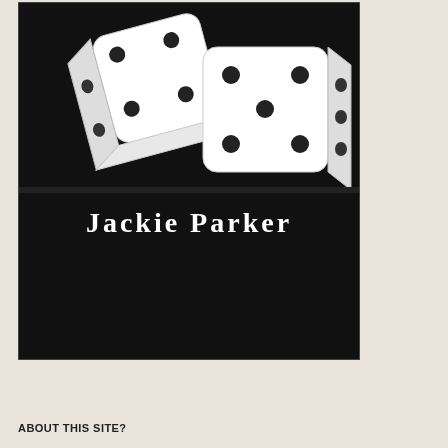[Figure (photo): A photograph of two white dice on a black background, showing various pip faces. Below the dice image is a black panel with the text 'Jackie Parker' in white serif font.]
ABOUT THIS SITE?